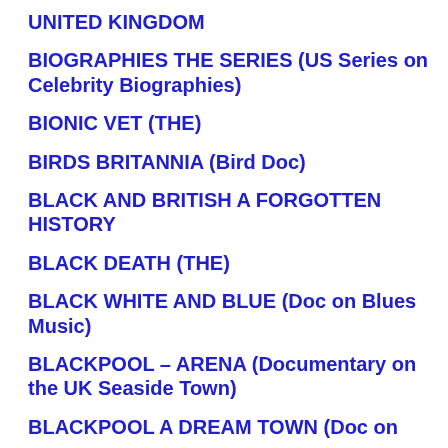UNITED KINGDOM
BIOGRAPHIES THE SERIES (US Series on Celebrity Biographies)
BIONIC VET (THE)
BIRDS BRITANNIA (Bird Doc)
BLACK AND BRITISH A FORGOTTEN HISTORY
BLACK DEATH (THE)
BLACK WHITE AND BLUE (Doc on Blues Music)
BLACKPOOL – ARENA (Documentary on the UK Seaside Town)
BLACKPOOL A DREAM TOWN (Doc on